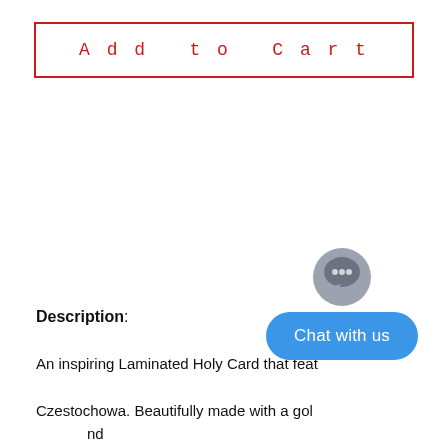[Figure (screenshot): Add to Cart button with red border and red monospace text on white background]
Description:
An inspiring Laminated Holy Card that feat... Czestochowa. Beautifully made with a gol... and the edges that highlights the beauty of the i... n Prayer printed on the back to help you commemorate for
[Figure (screenshot): Chat with us overlay widget — grey circular chat icon above a blue rounded pill button labeled 'Chat with us']